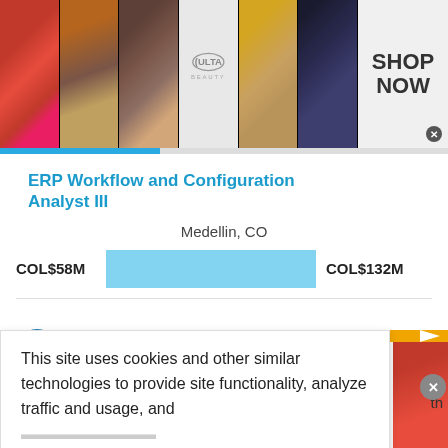[Figure (photo): Top banner advertisement for Ulta Beauty showing makeup photos (lips, brush, eyes) and ULTA logo with SHOP NOW call to action]
ERP Workflow and Configuration Analyst III
Medellin, CO
COL$58M  [salary bar]  COL$132M
ERP Workflow and Configuration Analyst II Salary by Global Country
This site uses cookies and other similar technologies to provide site functionality, analyze traffic and usage, and
[Figure (photo): Bottom banner advertisement for MAC cosmetics showing lipsticks and SHOP NOW button]